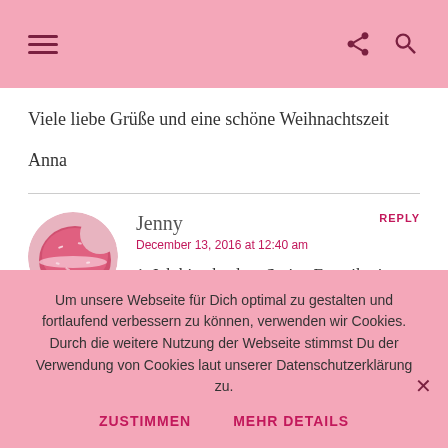Navigation bar with hamburger menu, share icon, and search icon
Viele liebe Grüße und eine schöne Weihnachtszeit

Anna
Jenny
December 13, 2016 at 12:40 am
1. Ich bin absolute Serien Fanatikerin. Ich verbringe dabei viel mehr Zeit mit Serien
Um unsere Webseite für Dich optimal zu gestalten und fortlaufend verbessern zu können, verwenden wir Cookies. Durch die weitere Nutzung der Webseite stimmst Du der Verwendung von Cookies laut unserer Datenschutzerklärung zu.
ZUSTIMMEN  MEHR DETAILS